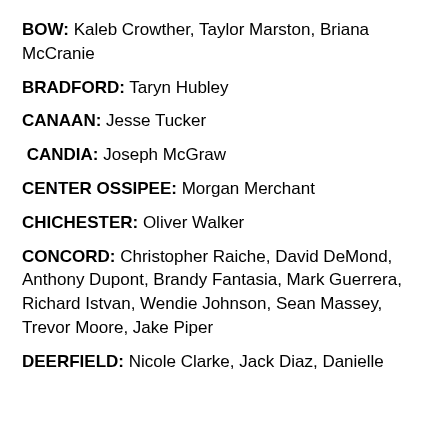BOW: Kaleb Crowther, Taylor Marston, Briana McCranie
BRADFORD: Taryn Hubley
CANAAN: Jesse Tucker
CANDIA: Joseph McGraw
CENTER OSSIPEE: Morgan Merchant
CHICHESTER: Oliver Walker
CONCORD: Christopher Raiche, David DeMond, Anthony Dupont, Brandy Fantasia, Mark Guerrera, Richard Istvan, Wendie Johnson, Sean Massey, Trevor Moore, Jake Piper
DEERFIELD: Nicole Clarke, Jack Diaz, Danielle